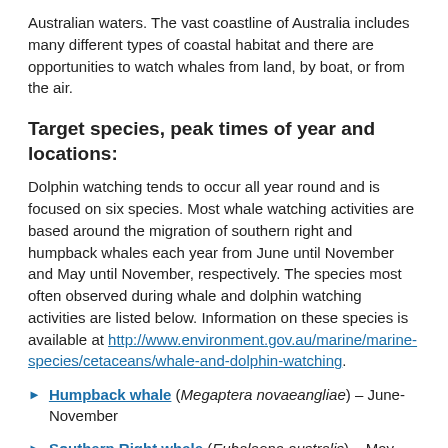Australian waters. The vast coastline of Australia includes many different types of coastal habitat and there are opportunities to watch whales from land, by boat, or from the air.
Target species, peak times of year and locations:
Dolphin watching tends to occur all year round and is focused on six species. Most whale watching activities are based around the migration of southern right and humpback whales each year from June until November and May until November, respectively. The species most often observed during whale and dolphin watching activities are listed below. Information on these species is available at http://www.environment.gov.au/marine/marine-species/cetaceans/whale-and-dolphin-watching.
Humpback whale (Megaptera novaeangliae) – June-November
Southern Right whale (Eubalaena australis) – May-November
Blue Whale (Balaenoptera musculus) – November-May
Dwarf Minke Whale (Balaenoptera acutorostrata unnamed sub-